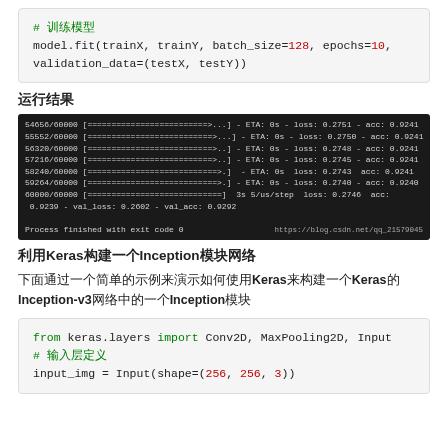# 训练模型
model.fit(trainX, trainY, batch_size=128, epochs=10,
validation_data=(testX, testY))
运行结果
[Figure (screenshot): Terminal output showing training progress with loss and accuracy metrics, ending with Process finished with exit code 0]
利用Keras构建一个Inception模块网络
下面通过一个简单的示例来演示如何使用Keras来构建一个Keras的Inception-v3网络中的一个Inception模块
from keras.layers import Conv2D, MaxPooling2D, Input
# 输入层定义
input_img = Input(shape=(256, 256, 3))